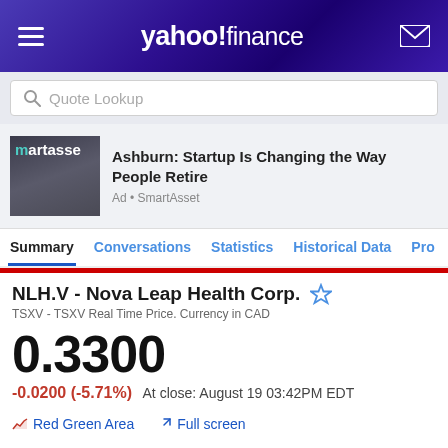yahoo!finance
Quote Lookup
[Figure (photo): SmartAsset advertisement image showing a group of people, with 'martasse' text overlay]
Ashburn: Startup Is Changing the Way People Retire
Ad • SmartAsset
Summary | Conversations | Statistics | Historical Data | Pro
NLH.V - Nova Leap Health Corp.
TSXV - TSXV Real Time Price. Currency in CAD
0.3300
-0.0200 (-5.71%)  At close: August 19 03:42PM EDT
Red Green Area   Full screen